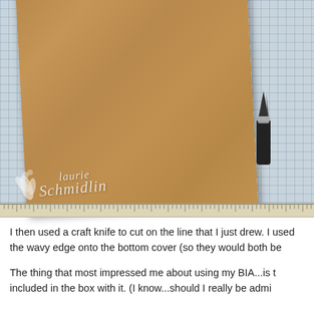[Figure (photo): Close-up photo of a brown kraft paper piece on a blue-grey grid cutting mat, with a craft knife (box cutter) resting on the upper right corner of the paper. A ruler is visible at the bottom edge of the mat. A white script watermark reading 'Laurie Schmidlin' with a floral motif is overlaid on the lower left of the image.]
I then used a craft knife to cut on the line that I just drew.  I used the wavy edge onto the bottom cover (so they would both be
The thing that most impressed me about using my BIA...is t included in the box with it.  (I know...should I really be admi